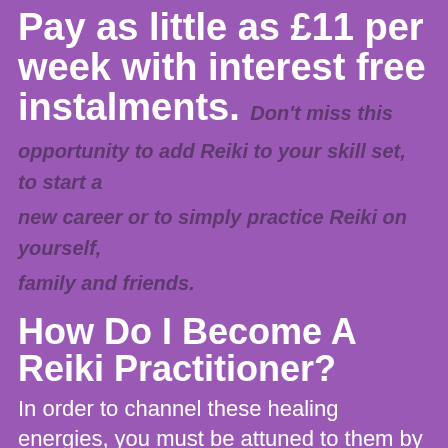Pay as little as £11 per week with interest free instalments. Don't miss this opportunity to add Reiki to your skill set, to start a new career or to simply practice Reiki on yourself, family and friends.
How Do I Become A Reiki Practitioner?
In order to channel these healing energies, you must be attuned to them by a Tera-Mai™ Master. Being attuned to the elemental healing rays accelerates your personal and spiritual growth and development.